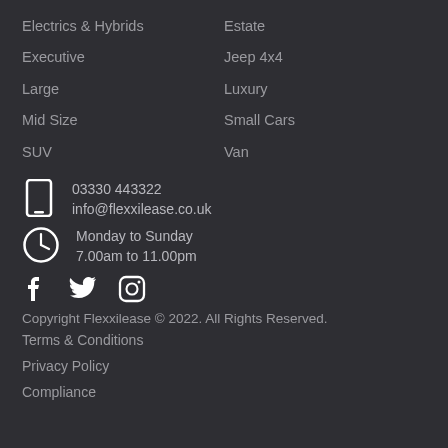Electrics & Hybrids
Estate
Executive
Jeep 4x4
Large
Luxury
Mid Size
Small Cars
SUV
Van
03330 443322
info@flexxilease.co.uk
Monday to Sunday
7.00am to 11.00pm
Copyright Flexxilease © 2022. All Rights Reserved.
Terms & Conditions
Privacy Policy
Compliance